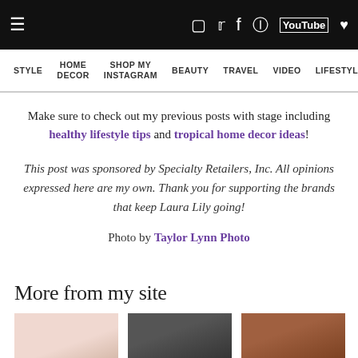Navigation bar with icons: hamburger menu, Instagram, Twitter, Facebook, Pinterest, YouTube, favorites
STYLE | HOME DECOR | SHOP MY INSTAGRAM | BEAUTY | TRAVEL | VIDEO | LIFESTYLE | HOLID…
Make sure to check out my previous posts with stage including healthy lifestyle tips and tropical home decor ideas!
This post was sponsored by Specialty Retailers, Inc. All opinions expressed here are my own. Thank you for supporting the brands that keep Laura Lily going!
Photo by Taylor Lynn Photo
More from my site
[Figure (photo): Three thumbnail images: pink outfit, two women at door, colorful items on wall]